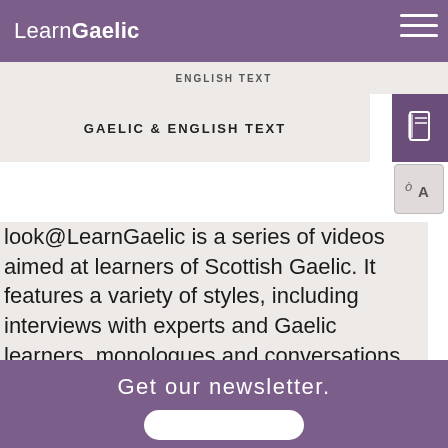LearnGaelic
GAELIC & ENGLISH TEXT
look@LearnGaelic is a series of videos aimed at learners of Scottish Gaelic. It features a variety of styles, including interviews with experts and Gaelic learners, monologues and conversations. Use the links above to select subtitles in English or Gaelic - or to turn them off altogether.
Get our newsletter.